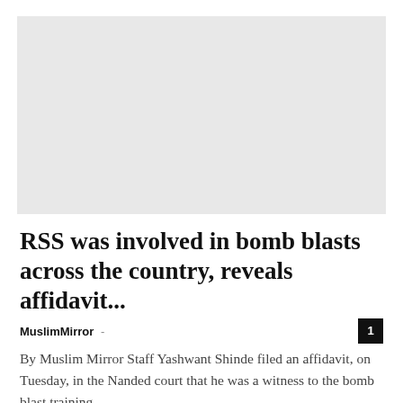[Figure (photo): Large light gray image placeholder at top of article]
RSS was involved in bomb blasts across the country, reveals affidavit...
MuslimMirror -
By Muslim Mirror Staff Yashwant Shinde filed an affidavit, on Tuesday, in the Nanded court that he was a witness to the bomb blast training....
[Figure (photo): Small gray thumbnail image for related article]
SC dismisses appeal against denial of sanction to